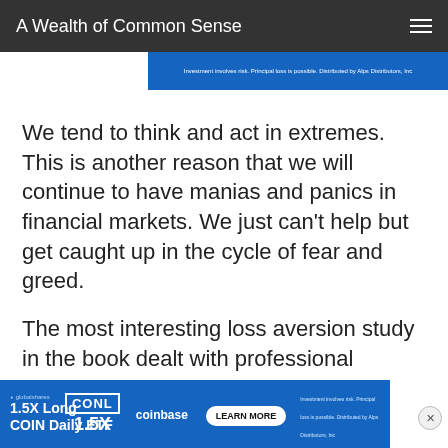A Wealth of Common Sense
[Figure (other): Advertisement banner: Investment involves risk. Principal loss is possible. Distributed by Alps Distributors, Inc]
We tend to think and act in extremes. This is another reason that we will continue to have manias and panics in financial markets. We just can't help but get caught up in the cycle of fear and greed.
The most interesting loss aversion study in the book dealt with professional golfers. A study was performed to analyze more than 2.5 million putts to see if golfers had better concentration when putting for par than when putting for birdie (
[Figure (other): Advertisement banner: 1.5X Long COIN Daily ETF — CONL 1.5X — coinbase — LEARN MORE. Investment involves risk. Principal loss is possible. Distributed by Alps Distributors, Inc]